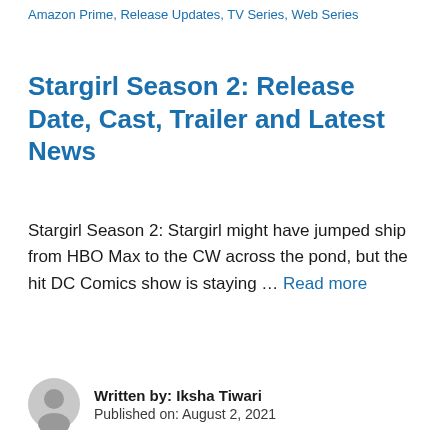Amazon Prime, Release Updates, TV Series, Web Series
Stargirl Season 2: Release Date, Cast, Trailer and Latest News
Stargirl Season 2: Stargirl might have jumped ship from HBO Max to the CW across the pond, but the hit DC Comics show is staying … Read more
Written by: Iksha Tiwari
Published on: August 2, 2021